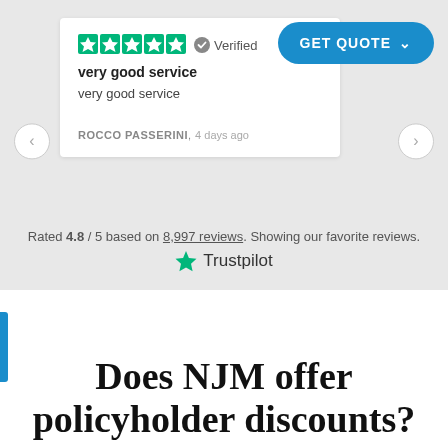[Figure (screenshot): Trustpilot review card showing 5 green stars, Verified badge, review title 'very good service', review text 'very good service', reviewer 'ROCCO PASSERINI, 4 days ago'. Blue 'GET QUOTE' button top right. Navigation arrows on sides.]
Rated 4.8 / 5 based on 8,997 reviews. Showing our favorite reviews.
[Figure (logo): Trustpilot logo with green star]
Does NJM offer policyholder discounts?